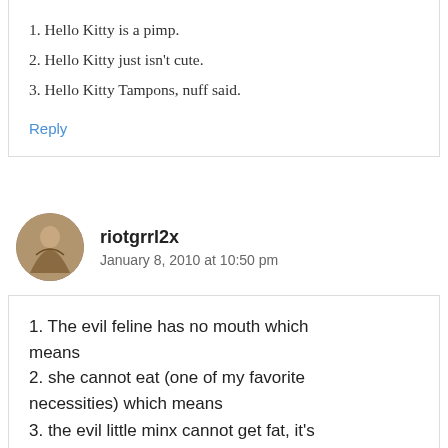1. Hello Kitty is a pimp.
2. Hello Kitty just isn't cute.
3. Hello Kitty Tampons, nuff said.
Reply
riotgrrl2x
January 8, 2010 at 10:50 pm
1. The evil feline has no mouth which means
2. she cannot eat (one of my favorite necessities) which means
3. the evil little minx cannot get fat, it's